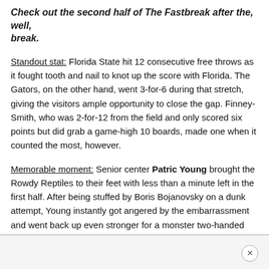Check out the second half of The Fastbreak after the, well, break.
Standout stat: Florida State hit 12 consecutive free throws as it fought tooth and nail to knot up the score with Florida. The Gators, on the other hand, went 3-for-6 during that stretch, giving the visitors ample opportunity to close the gap. Finney-Smith, who was 2-for-12 from the field and only scored six points but did grab a game-high 10 boards, made one when it counted the most, however.
Memorable moment: Senior center Patric Young brought the Rowdy Reptiles to their feet with less than a minute left in the first half. After being stuffed by Boris Bojanovsky on a dunk attempt, Young instantly got angered by the embarrassment and went back up even stronger for a monster two-handed jam. It was two of his four points.